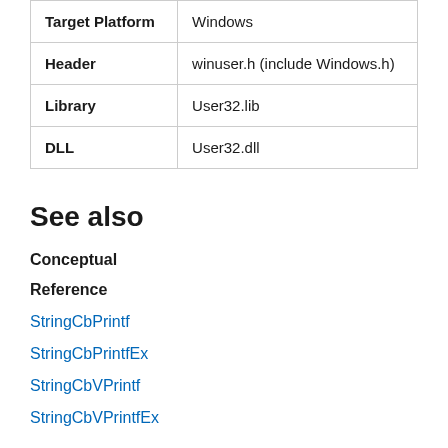| Target Platform | Windows |
| Header | winuser.h (include Windows.h) |
| Library | User32.lib |
| DLL | User32.dll |
See also
Conceptual
Reference
StringCbPrintf
StringCbPrintfEx
StringCbVPrintf
StringCbVPrintfEx